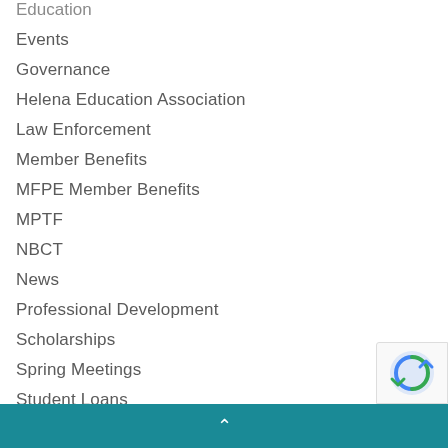Education
Events
Governance
Helena Education Association
Law Enforcement
Member Benefits
MFPE Member Benefits
MPTF
NBCT
News
Professional Development
Scholarships
Spring Meetings
Student Loans
The Ballot
Uncategorized
^